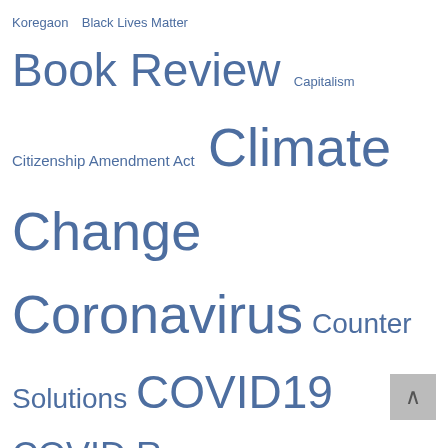[Figure (infographic): Tag/word cloud with various topics in different font sizes indicating frequency/importance. Topics include: Koregaon, Black Lives Matter, Book Review, Capitalism, Citizenship Amendment Act, Climate Change, Coronavirus, Counter Solutions, COVID19, COVID Response Watch, COVID Vaccine, CRW Reportage, Dakota Access Pipeline, Demonetisation, Donald Trump, Education, Environment, Farmers Agitation, Farm Reform Laws, Film Review, Gaza, Global Warming, Health, Hindutva, Human Rights, Iran, Israel, Julian Assange, Kashmir, Life, Nuclear War, Palestine, Poetry, RSS, Sri Lanka, Standing Rock Sioux Protest, Syria, The Commons. All in blue-grey color.]